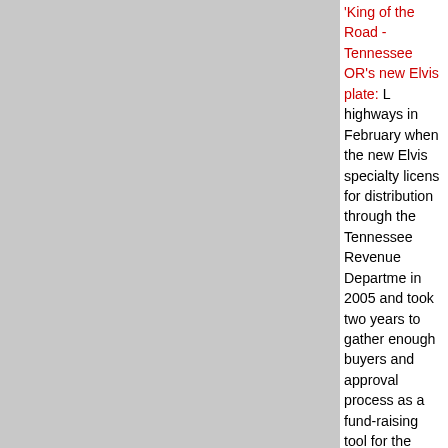'King of the Road - Tennessee OR's new Elvis plate: ... highways in February when the new Elvis specialty license ... for distribution through the Tennessee Revenue Department ... in 2005 and took two years to gather enough buyers and ... approval process as a fund-raising tool for the Regional M... its Elvis Presley Memorial Trauma Center. Spokesman M... Tennesseans ordered the specialty tags, exceeding the m... needed to justify production. The Med will receive about $... fee, while hoping to increase sales of the plate once they ... plate features a classic Elvis pose from a photograph take... Tampa, just before the release of his first No. 1 hit 'Heartb... becomes one of more than 150 specialty plates in produc... popular is a "Friends of Great Smoky Mountains" plate. (N... Appeal)
Wednesday 12 December 2007...............only 13 more s
EPE 2007 Fan Club Presidents CD: This is the nice look... Club Presidents CD. It features Elvis 1966 recording 'If Ev... official CDs are always a favourite for collectors.
Musha_ll_swell releases from Elvis in 2008: Very Best...